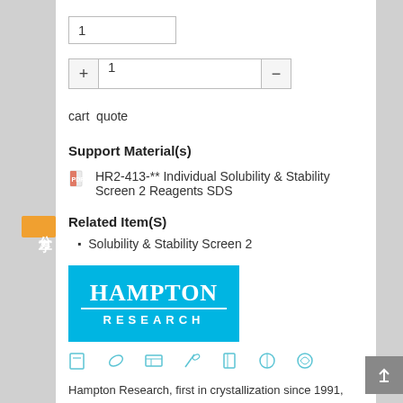1
+ 1 −
cart  quote
Support Material(s)
HR2-413-** Individual Solubility & Stability Screen 2 Reagents SDS
Related Item(S)
Solubility & Stability Screen 2
[Figure (logo): Hampton Research logo — blue rectangle with white serif HAMPTON text and RESEARCH in spaced caps below]
Hampton Research, first in crystallization since 1991,